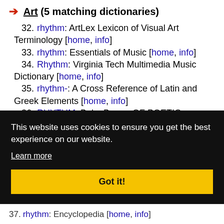➔ Art (5 matching dictionaries)
32. rhythm: ArtLex Lexicon of Visual Art Terminology [home, info]
33. rhythm: Essentials of Music [home, info]
34. Rhythm: Virginia Tech Multimedia Music Dictionary [home, info]
35. rhythm-: A Cross Reference of Latin and Greek Elements [home, info]
36. RHYTHM: Bobs Byway OF POETIC
This website uses cookies to ensure you get the best experience on our website.
Learn more
Got it!
37. rhythm: Encyclopedia [home, info]